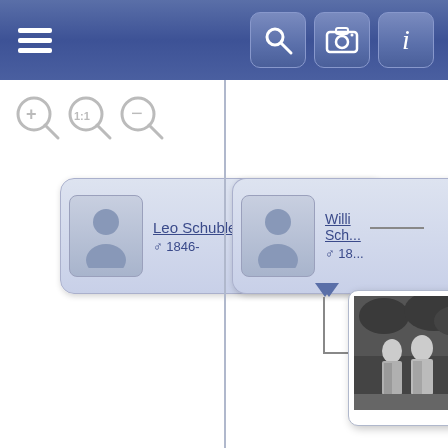[Figure (screenshot): Genealogy app screenshot showing a family tree with navigation bar at top (hamburger menu, search, camera, info icons), zoom controls below, a vertical divider splitting the view, a person card for Leo Schuble Sr. (male, 1846-) on the left, a partially visible person card (Willi Sch..., male, 18...) on the right, a down arrow below each card, and a historical photo thumbnail showing two people on the right side.]